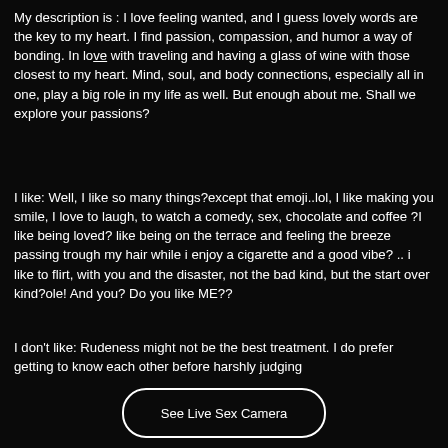My description is : I love feeling wanted, and I guess lovely words are the key to my heart. I find passion, compassion, and humor a way of bonding. In love with traveling and having a glass of wine with those closest to my heart. Mind, soul, and body connections, especially all in one, play a big role in my life as well. But enough about me. Shall we explore your passions?
I like: Well, I like so many things?except that emoji..lol, I like making you smile, I love to laugh, to watch a comedy, sex, chocolate and coffee ?I like being loved? like being on the terrace and feeling the breeze passing trough my hair while i enjoy a cigarette and a good vibe? .. i like to flirt, with you and the disaster, not the bad kind, but the start over kind?ole! And you? Do you like ME??
I don't like: Rudeness might not be the best treatment. I do prefer getting to know each other before harshly judging
See Live Sex Camera